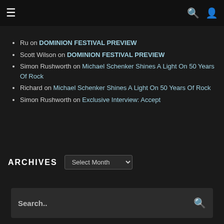Navigation bar with hamburger menu, search icon, and user icon
Ru on DOMINION FESTIVAL PREVIEW
Scott Wilson on DOMINION FESTIVAL PREVIEW
Simon Rushworth on Michael Schenker Shines A Light On 50 Years Of Rock
Richard on Michael Schenker Shines A Light On 50 Years Of Rock
Simon Rushworth on Exclusive Interview: Accept
ARCHIVES
Search..